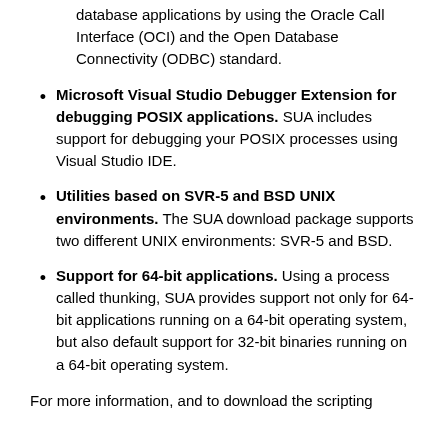database applications by using the Oracle Call Interface (OCI) and the Open Database Connectivity (ODBC) standard.
Microsoft Visual Studio Debugger Extension for debugging POSIX applications. SUA includes support for debugging your POSIX processes using Visual Studio IDE.
Utilities based on SVR-5 and BSD UNIX environments. The SUA download package supports two different UNIX environments: SVR-5 and BSD.
Support for 64-bit applications. Using a process called thunking, SUA provides support not only for 64-bit applications running on a 64-bit operating system, but also default support for 32-bit binaries running on a 64-bit operating system.
For more information, and to download the scripting